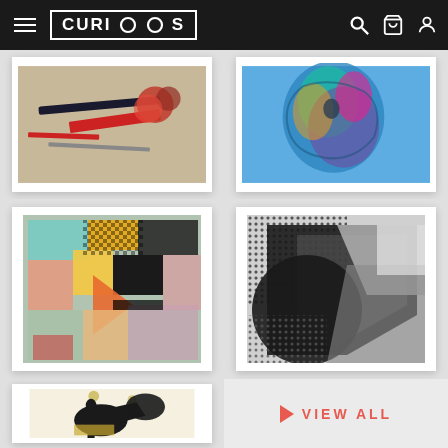CURIOOS - navigation header with logo, search, cart, and user icons
[Figure (illustration): Abstract artwork with red lines, dark diagonal stroke, and reddish floral element on beige background, framed with white mat]
[Figure (illustration): Abstract figurative artwork with teal, pink and colorful brushwork suggesting a face/figure, framed with white mat]
[Figure (illustration): Abstract geometric collage with teal, orange, black, pink geometric shapes and checkered patterns, framed with white mat]
[Figure (illustration): Abstract black and white artwork with geometric shapes, circles, triangles and halftone patterns, framed with white mat]
[Figure (illustration): Black and white figurative artwork showing a person in silhouette with large dark shapes, framed with white mat]
VIEW ALL